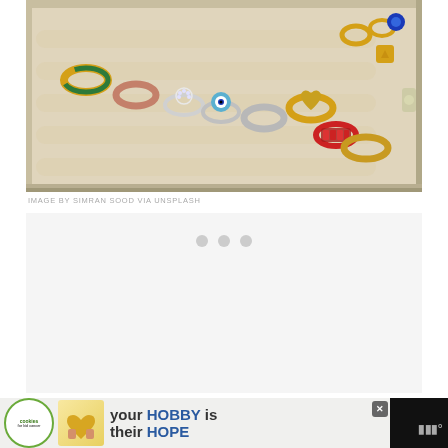[Figure (photo): A jewelry box open and filled with various gold, silver, and gemstone rings arranged in rows on cream/beige velvet holders. Rings include designs with green enamel, evil eye, diamond clusters, heart shapes with gemstones, red gemstone bands, and plain gold bands. Some loose rings visible in upper right corner.]
IMAGE BY SIMRAN SOOD VIA UNSPLASH
[Figure (other): Advertisement loading placeholder with three grey dots (loading indicator) on white/light grey background]
[Figure (other): Advertisement banner at bottom: Cookies for Kid Cancer logo on left, image of hands holding golden heart, text 'your HOBBY is their HOPE' in blue and grey, close button X in top right corner]